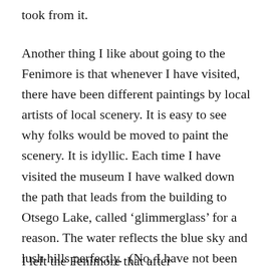took from it.
Another thing I like about going to the Fenimore is that whenever I have visited, there have been different paintings by local artists of local scenery. It is easy to see why folks would be moved to paint the scenery. It is idyllic. Each time I have visited the museum I have walked down the path that leads from the building to Otsego Lake, called ‘glimmerglass’ for a reason. The water reflects the blue sky and lush hills perfectly. (No, I have not been paid by the museum to write this!).
I left the Fenimore that afternoon and...